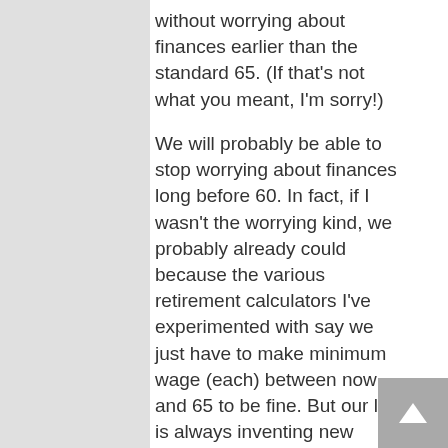without worrying about finances earlier than the standard 65. (If that's not what you meant, I'm sorry!)
We will probably be able to stop worrying about finances long before 60. In fact, if I wasn't the worrying kind, we probably already could because the various retirement calculators I've experimented with say we just have to make minimum wage (each) between now and 65 to be fine. But our life is always inventing new things we'd like to save up for: our children's education; helping them with their first home; paying for their weddings or investing in the start-ups of their personal businesses; expanding our giving to the charities we support; helping